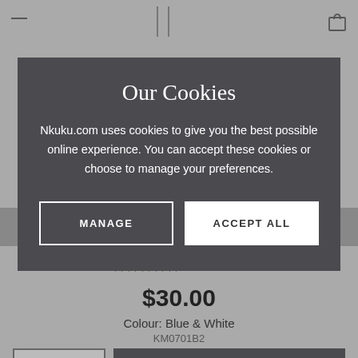Our Cookies
Nkuku.com uses cookies to give you the best possible online experience. You can accept these cookies or choose to manage your preferences.
MANAGE
ACCEPT ALL
★★★★★ 27 Reviews
$30.00
Colour: Blue & White
KM0701B2
1
ADD TO BASKET